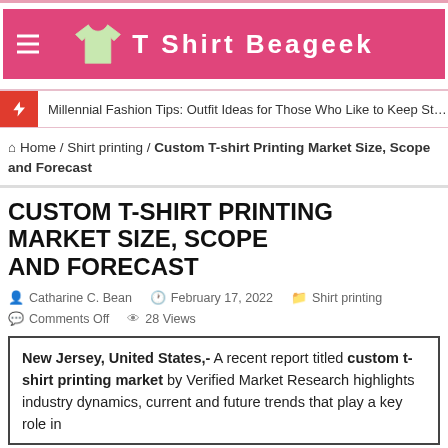T Shirt Beageek
Millennial Fashion Tips: Outfit Ideas for Those Who Like to Keep Style Hassl…
Home / Shirt printing / Custom T-shirt Printing Market Size, Scope and Forecast
CUSTOM T-SHIRT PRINTING MARKET SIZE, SCOPE AND FORECAST
Catharine C. Bean   February 17, 2022   Shirt printing
Comments Off   28 Views
New Jersey, United States,- A recent report titled custom t-shirt printing market by Verified Market Research highlights industry dynamics, current and future trends that play a key role in